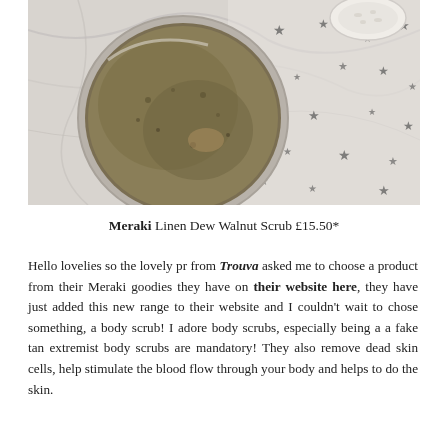[Figure (photo): Overhead/top-down photo of an open jar of Meraki Linen Dew Walnut Scrub, greenish-brown scrub visible inside, set on a marble surface with a star-patterned fabric and a small white bowl of scrub ingredients in the upper right corner.]
Meraki Linen Dew Walnut Scrub £15.50*
Hello lovelies so the lovely pr from Trouva asked me to choose a product from their Meraki goodies they have on their website here, they have just added this new range to their website and I couldn't wait to chose something, a body scrub! I adore body scrubs, especially being a a fake tan extremist body scrubs are mandatory! They also remove dead skin cells, help stimulate the blood flow through your body and helps to do the skin.